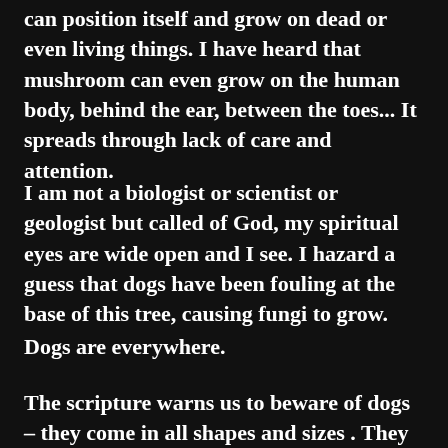can position itself and grow on dead or even living things. I have heard that mushroom can even grow on the human body, behind the ear, between the toes... It spreads through lack of care and attention.
I am not a biologist or scientist or geologist but called of God, my spiritual eyes are wide open and I see. I hazard a guess that dogs have been fouling at the base of this tree, causing fungi to grow.
Dogs are everywhere.
The scripture warns us to beware of dogs – they come in all shapes and sizes . They can